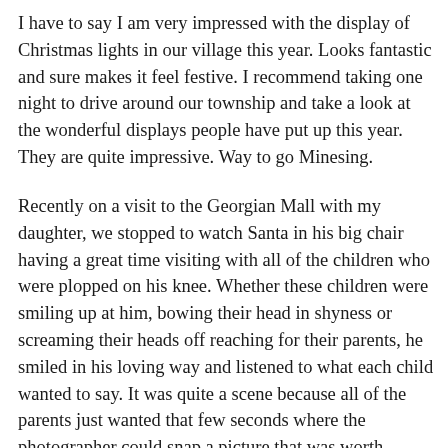I have to say I am very impressed with the display of Christmas lights in our village this year. Looks fantastic and sure makes it feel festive. I recommend taking one night to drive around our township and take a look at the wonderful displays people have put up this year. They are quite impressive. Way to go Minesing.
Recently on a visit to the Georgian Mall with my daughter, we stopped to watch Santa in his big chair having a great time visiting with all of the children who were plopped on his knee. Whether these children were smiling up at him, bowing their head in shyness or screaming their heads off reaching for their parents, he smiled in his loving way and listened to what each child wanted to say. It was quite a scene because all of the parents just wanted that few seconds where the photographer could snap a picture that was worth sending in their Christmas cards. Many of them ended up with the red faced, tear stained face, outreached arms child, with Santa holding on tight to make sure that they don't fall off his knee photograph that